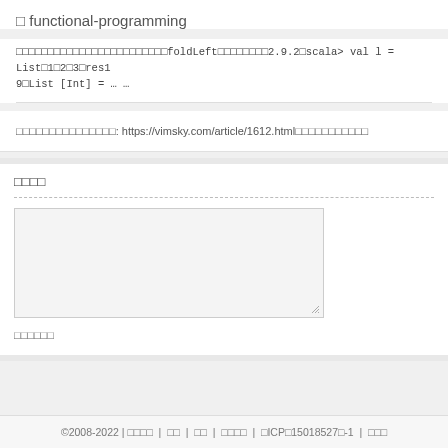□ functional-programming
□□□□□□□□□□□□□□□□□□□□□□□□foldLeft□□□□□□□□2.9.2□scala> val l = List□1□2□3□res1 9□List [Int] = … …
□□□□□□□□□□□□□□□: https://vimsky.com/article/1612.html□□□□□□□□□□□
□□□□
[Figure (other): Text area input box for comment submission]
□□□□□□
©2008-2022 | □□□□ | □□ | □□ | □□□□ | □ICP□15018527□-1 | □□□